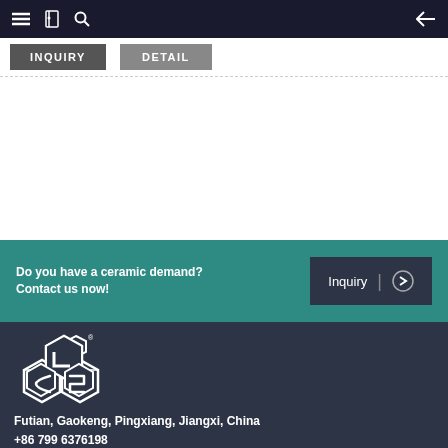Navigation bar with menu, book, search icons and back arrow
INQUIRY | DETAIL
[Figure (logo): Company logo with hexagonal shapes forming letters, white on dark background]
Do you have a ceramic demand? Contact us now!
Inquiry →
Futian, Gaokeng, Pingxiang, Jiangxi, China
+86 799 6376198